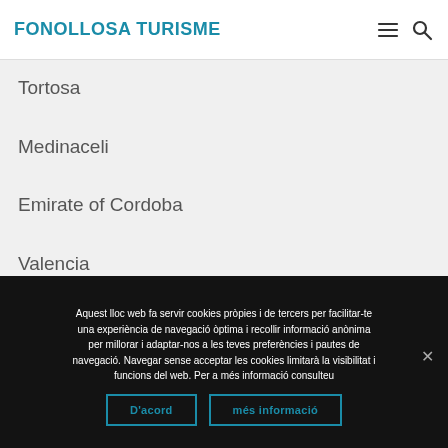FONOLLOSA TURISME
Tortosa
Medinaceli
Emirate of Cordoba
Valencia
Urgell
Aquest lloc web fa servir cookies pròpies i de tercers per facilitar-te una experiència de navegació òptima i recollir informació anònima per millorar i adaptar-nos a les teves preferències i pautes de navegació. Navegar sense acceptar les cookies limitarà la visibilitat i funcions del web. Per a més informació consulteu
D'acord
més informació